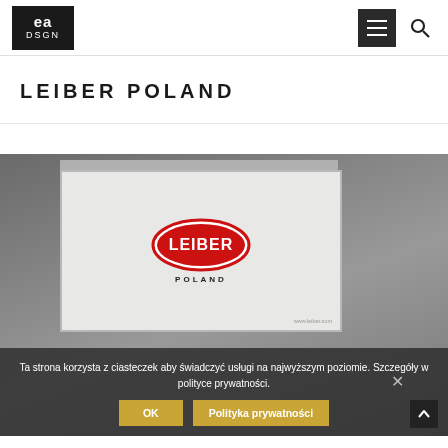[Figure (logo): EA DSGN logo — white text on dark background square]
[Figure (other): Hamburger menu button — dark square with three horizontal white lines]
[Figure (other): Search icon — magnifying glass symbol]
LEIBER POLAND
[Figure (photo): Projection screen on grey wall displaying LEIBER POLAND logo (red oval with white LEIBER text, POLAND text below), with website URL www.leiber.com at bottom right. Cookie consent banner overlaid at bottom.]
Ta strona korzysta z ciasteczek aby świadczyć usługi na najwyższym poziomie. Szczegóły w polityce prywatności.
OK
Polityka prywatności